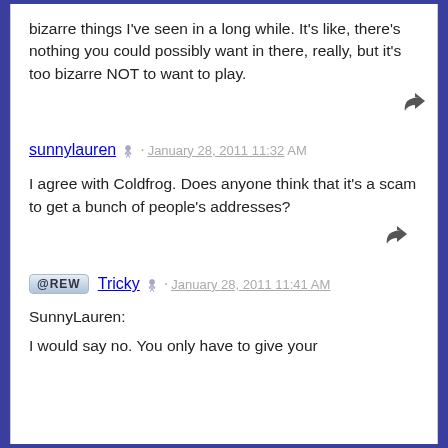bizarre things I've seen in a long while. It's like, there's nothing you could possibly want in there, really, but it's too bizarre NOT to want to play.
sunnylauren · January 28, 2011 11:32 AM
I agree with Coldfrog. Does anyone think that it's a scam to get a bunch of people's addresses?
@CREW Tricky · January 28, 2011 11:41 AM
SunnyLauren:
I would say no. You only have to give your